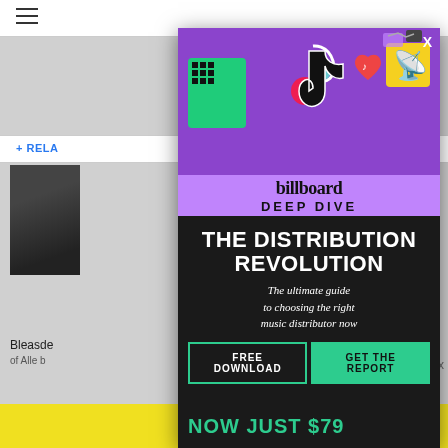[Figure (screenshot): Background webpage with hamburger menu, navigation bar, related content bar, partial article photo, and partial text]
[Figure (infographic): Billboard Deep Dive popup advertisement modal with purple header containing TikTok and social media icons, billboard branding, dark section with headline THE DISTRIBUTION REVOLUTION, subtitle The ultimate guide to choosing the right music distributor now, FREE DOWNLOAD and GET THE REPORT buttons, and NOW JUST $79 footer bar]
THE DISTRIBUTION REVOLUTION
The ultimate guide to choosing the right music distributor now
FREE DOWNLOAD   GET THE REPORT
NOW JUST $79